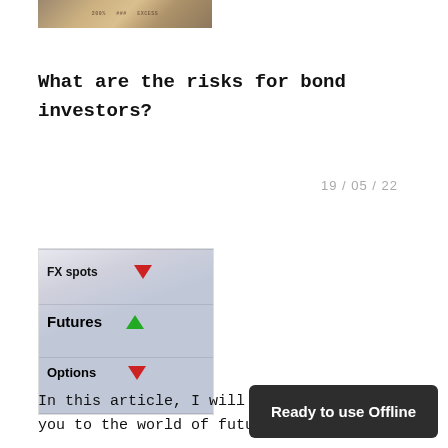[Figure (photo): Partial view of a financial newspaper or document with numbers and text, cropped at top]
What are the risks for bond investors?
19 / 05 / 22
[Figure (photo): Financial trading screen showing FX spots, Futures, and Options with red down arrows and green up arrow]
In this article, I will you to the world of futures